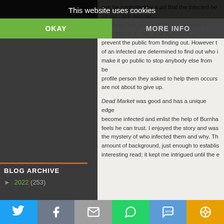This website uses cookies
OKAY
MORE INFO
can be controlled by a pill that the infected he... as the case may be... ufactured this virus and the treatment in c... h the pills to tr... my... and to make t... prevent the public from finding out. However t... of an infected are determined to find out who i... make it go public to stop anybody else from be... profile person they asked to help them occurs... are not about to give up.
Dead Market was good and has a unique edge... become infected and enlist the help of Burnha... feels he can trust. I enjoyed the story and was... the mystery of who infected them and why. Th... amount of background, just enough to establis... interesting read; it kept me intrigued until the e...
BLOG ARCHIVE
► 2022 (253)
Buy Dead Mar...